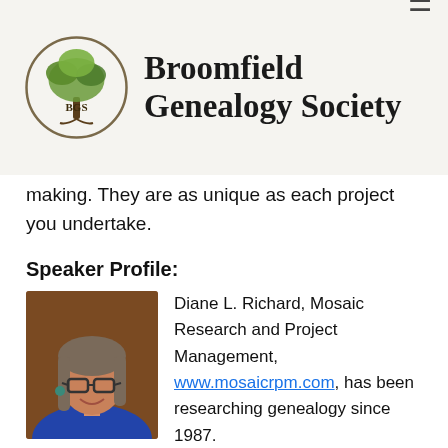Broomfield Genealogy Society
making. They are as unique as each project you undertake.
Speaker Profile:
[Figure (photo): Headshot of Diane L. Richard, a woman with gray-brown hair wearing glasses and a blue top, smiling.]
Diane L. Richard, Mosaic Research and Project Management, www.mosaicrpm.com, has been researching genealogy since 1987.
And since 2004, she has focused on the records of North Carolina and southern states. She has authored over 500 articles on genealogy topics. In 2019, she published "Tracing Your Ancestors –